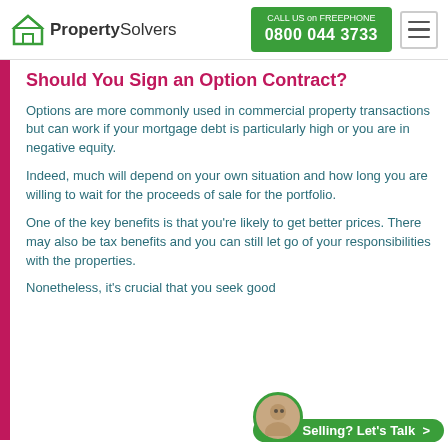PropertySolvers | CALL US on FREEPHONE 0800 044 3733
Should You Sign an Option Contract?
Options are more commonly used in commercial property transactions but can work if your mortgage debt is particularly high or you are in negative equity.
Indeed, much will depend on your own situation and how long you are willing to wait for the proceeds of sale for the portfolio.
One of the key benefits is that you're likely to get better prices. There may also be tax benefits and you can still let go of your responsibilities with the properties.
Nonetheless, it's crucial that you seek good